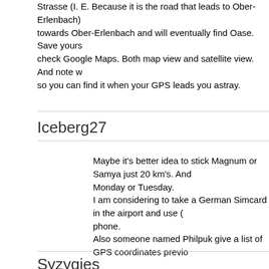Strasse (I. E. Because it is the road that leads to Ober-Erlenbach) towards Ober-Erlenbach and will eventually find Oase. Save yours check Google Maps. Both map view and satellite view. And note w so you can find it when your GPS leads you astray.
Iceberg27
Maybe it's better idea to stick Magnum or Samya just 20 km's. And Monday or Tuesday.
I am considering to take a German Simcard in the airport and use phone.
Also someone named Philpuk give a list of GPS coordinates previo
I hope it works.
Syzygies
[QUOTE=Iceberg27; 1550635]Maybe it's better idea to stick Magnu km's. And get OASE in daytime on Monday or Tuesday.
I am considering to take a German Simcard in the airport and use